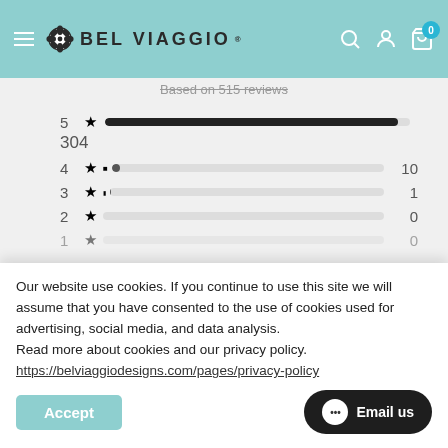Bel Viaggio header navigation
Based on 515 reviews
[Figure (bar-chart): Star rating distribution]
Our website use cookies. If you continue to use this site we will assume that you have consented to the use of cookies used for advertising, social media, and data analysis.
Read more about cookies and our privacy policy. https://belviaggiodesigns.com/pages/privacy-policy
Accept
Email us